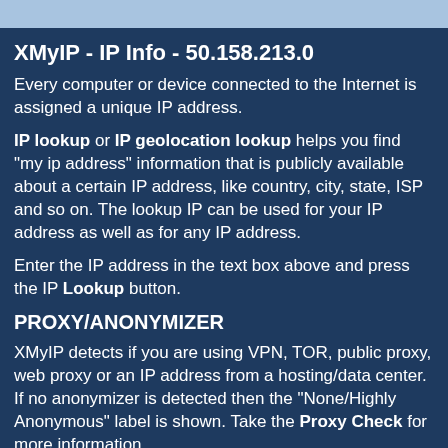XMyIP - IP Info - 50.158.213.0
Every computer or device connected to the Internet is assigned a unique IP address.
IP lookup or IP geolocation lookup helps you find "my ip address" information that is publicly available about a certain IP address, like country, city, state, ISP and so on. The lookup IP can be used for your IP address as well as for any IP address.
Enter the IP address in the text box above and press the IP Lookup button.
PROXY/ANONYMIZER
XMyIP detects if you are using VPN, TOR, public proxy, web proxy or an IP address from a hosting/data center. If no anonymizer is detected then the "None/Highly Anonymous" label is shown. Take the Proxy Check for more information.